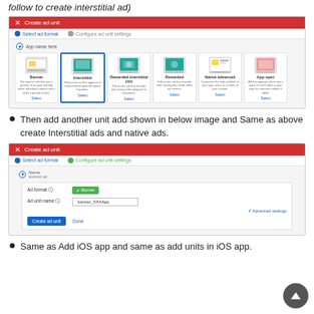follow to create interstitial ad)
[Figure (screenshot): Screenshot of Google AdMob 'Create ad unit' dialog showing ad format selection step with options: Banner, Interstitial, Rewarded interstitial (on), Rewarded, Native advanced, App open]
Then add another unit add shown in below image and Same as above create Interstitial ads and native ads.
[Figure (screenshot): Screenshot of Google AdMob 'Create ad unit' dialog showing Configure ad unit settings step with Ad format: Banner, Ad unit name: banner_XXXApp, with Create ad unit and Done buttons]
Same as Add iOS app and same as add units in iOS app.